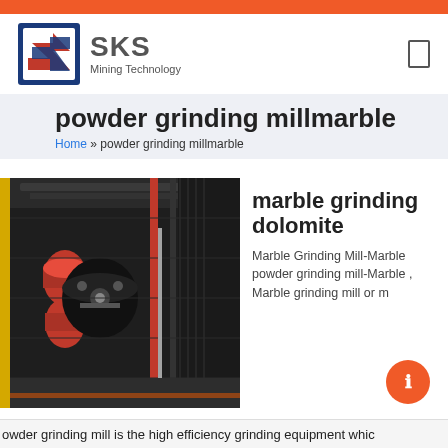[Figure (logo): SKS Mining Technology logo with red and blue geometric S icon and gray text]
powder grinding millmarble
Home » powder grinding millmarble
[Figure (photo): Industrial marble grinding mill machinery in a factory setting, dark interior with red machinery components and yellow structural elements]
marble grinding dolomite
Marble Grinding Mill-Marble powder grinding mill-Marble , Marble grinding mill or m
powder grinding mill is the high efficiency grinding equipment whic